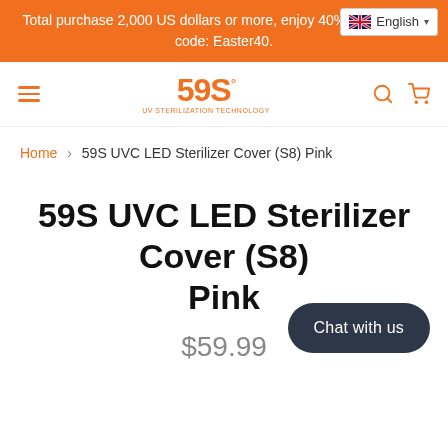Total purchase 2,000 US dollars or more, enjoy 40% off, discount code: Easter40.
[Figure (logo): 59S brand logo with orange text and small registered trademark symbol]
Home > 59S UVC LED Sterilizer Cover (S8) Pink
59S UVC LED Sterilizer Cover (S8) Pink
$59.99
Chat with us